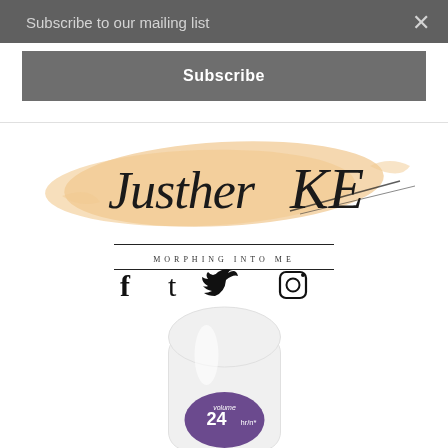Subscribe to our mailing list
×
Subscribe
[Figure (logo): Justher KE cursive signature logo with peach/salmon brushstroke background and 'MORPHING INTO ME' tagline]
MORPHING INTO ME
f t ♥ camera social icons
[Figure (photo): White oval deodorant/antiperspirant bottle with purple oval label showing 'volume 24 hr/n' text, partially cropped at bottom of page]